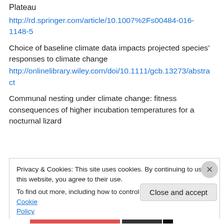Plateau
http://rd.springer.com/article/10.1007%2Fs00484-016-1148-5
Choice of baseline climate data impacts projected species’ responses to climate change
http://onlinelibrary.wiley.com/doi/10.1111/gcb.13273/abstract
Communal nesting under climate change: fitness consequences of higher incubation temperatures for a nocturnal lizard
Privacy & Cookies: This site uses cookies. By continuing to use this website, you agree to their use.
To find out more, including how to control cookies, see here: Cookie Policy
Close and accept